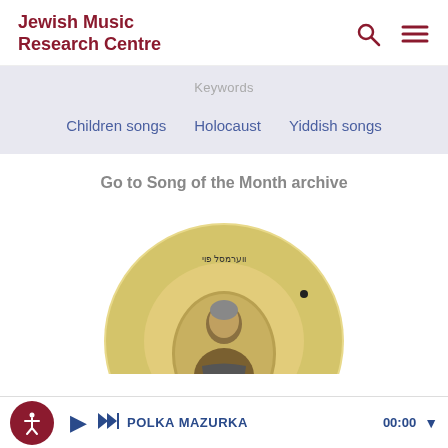Jewish Music Research Centre
Keywords
Children songs
Holocaust
Yiddish songs
Go to Song of the Month archive
[Figure (photo): A vintage record disc with Hebrew text and an oval portrait photo of an elderly man in the center]
POLKA MAZURKA  00:00